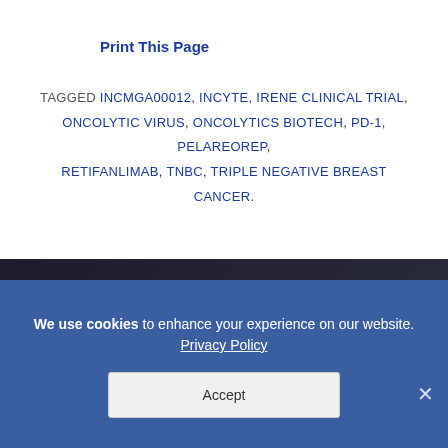Print This Page
TAGGED INCMGA00012, INCYTE, IRENE CLINICAL TRIAL, ONCOLYTIC VIRUS, ONCOLYTICS BIOTECH, PD-1, PELAREOREP, RETIFANLIMAB, TNBC, TRIPLE NEGATIVE BREAST CANCER.
PREVIOUS: ‹ Tesetaxel With Reduced-dose Capecitabine Improved Progression-free Survival in
We use cookies to enhance your experience on our website. Privacy Policy Accept